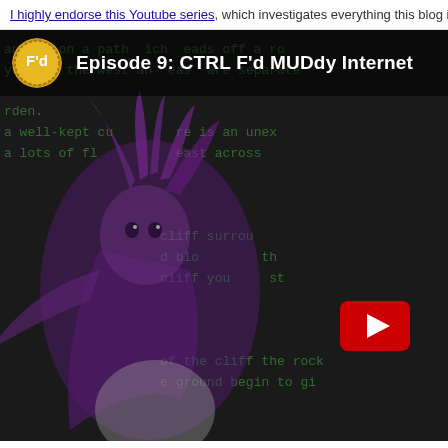I highly endorse this Youtube series, which investigates everything this blog is f
[Figure (screenshot): YouTube video thumbnail for 'Episode 9: CTRL F'd MUDdy Internet' showing an anime character (dark purple/violet dragon or creature) overlaid on dark background with green monospace MUD text visible. A red YouTube play button is visible in the lower right area. Channel logo with 'F'd' branding shown in upper left.]